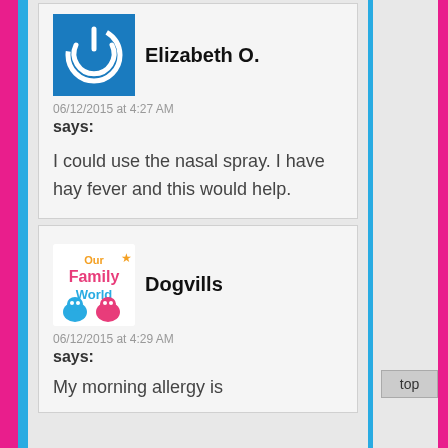Elizabeth O. — 06/12/2015 at 4:27 AM says: I could use the nasal spray. I have hay fever and this would help.
Dogvills — 06/12/2015 at 4:29 AM says: My morning allergy is